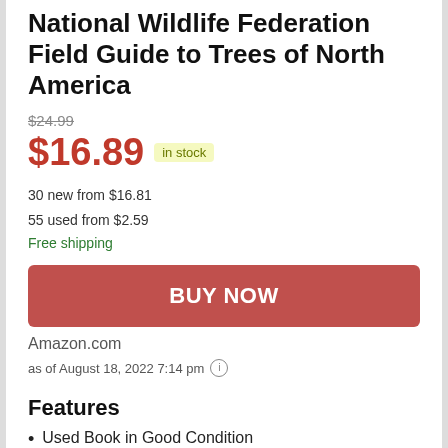National Wildlife Federation Field Guide to Trees of North America
$24.99
$16.89 in stock
30 new from $16.81
55 used from $2.59
Free shipping
BUY NOW
Amazon.com
as of August 18, 2022 7:14 pm
Features
Used Book in Good Condition